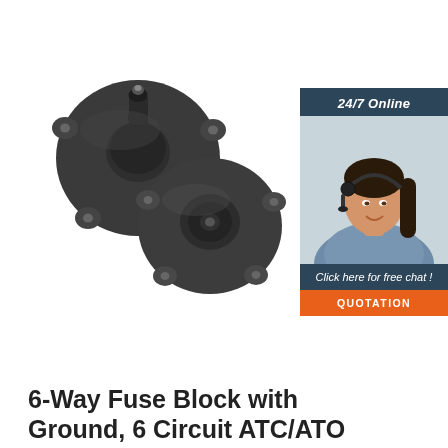[Figure (photo): Two black circular fuse block components with mounting flanges and center posts, shown from an angle against a white background]
[Figure (infographic): 24/7 Online chat badge with woman wearing headset, 'Click here for free chat!' text and orange QUOTATION button]
6-Way Fuse Block with Ground, 6 Circuit ATC/ATO